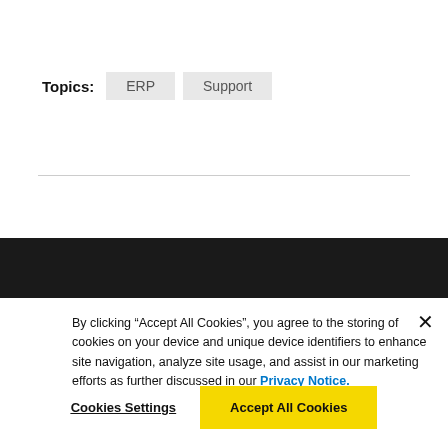Topics: ERP Support
By clicking “Accept All Cookies”, you agree to the storing of cookies on your device and unique device identifiers to enhance site navigation, analyze site usage, and assist in our marketing efforts as further discussed in our Privacy Notice.
Cookies Settings
Accept All Cookies